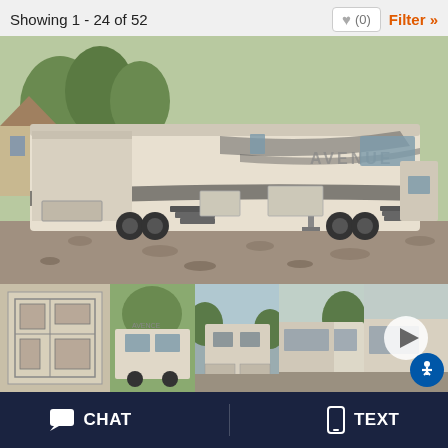Showing 1 - 24 of 52
(0)
Filter »
[Figure (photo): Large RV (fifth wheel trailer, Avenue brand) parked on gravel, side view showing slide-outs extended and entry stairs deployed, trees and house in background]
[Figure (photo): Floor plan thumbnail of the RV showing interior layout]
[Figure (photo): Thumbnail photo of front of RV (Avance brand) parked outdoors]
[Figure (photo): Thumbnail photo of rear of RV showing exterior compartments]
[Figure (photo): Thumbnail photo showing side of RV with slide-out]
[Figure (photo): Thumbnail photo with video play button overlay]
CHAT
TEXT